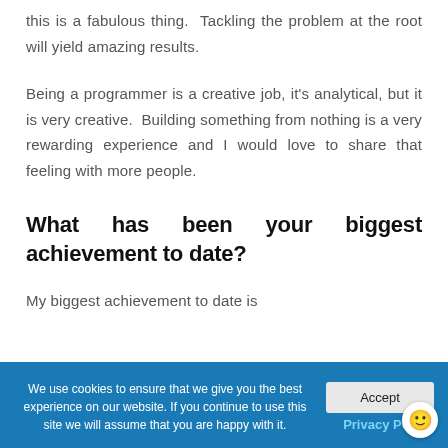this is a fabulous thing.  Tackling the problem at the root will yield amazing results.
Being a programmer is a creative job, it's analytical, but it is very creative.  Building something from nothing is a very rewarding experience and I would love to share that feeling with more people.
What has been your biggest achievement to date?
My biggest achievement to date is
We use cookies to ensure that we give you the best experience on our website. If you continue to use this site we will assume that you are happy with it.